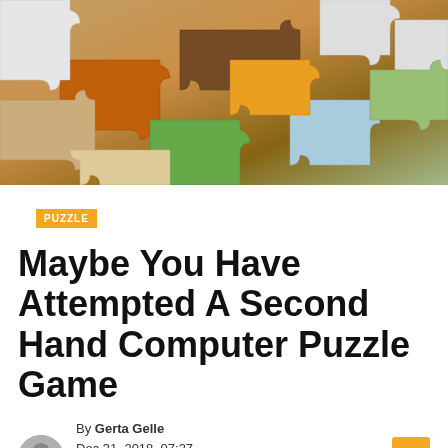[Figure (photo): Close-up photo of scattered jigsaw puzzle pieces in various colors including orange, brown, green, white, and mixed colors, spread across a surface]
PUZZLE
Maybe You Have Attempted A Second Hand Computer Puzzle Game
By Gerta Gelle
Dec 31, 2018, 07:37 Am  Comments Off
0  1506